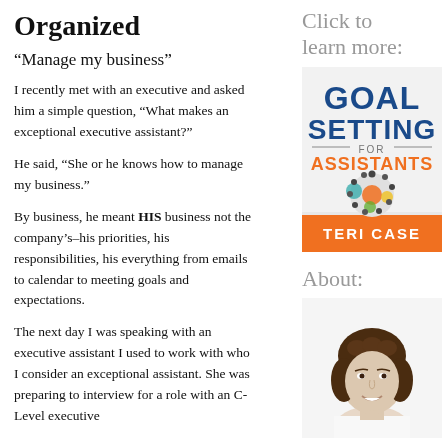Organized
“Manage my business”
I recently met with an executive and asked him a simple question, “What makes an exceptional executive assistant?”
He said, “She or he knows how to manage my business.”
By business, he meant HIS business not the company’s–his priorities, his responsibilities, his everything from emails to calendar to meeting goals and expectations.
The next day I was speaking with an executive assistant I used to work with who I consider an exceptional assistant. She was preparing to interview for a role with an C-Level executive who I know considers finding difficult to...
Click to learn more:
[Figure (illustration): Book cover for 'Goal Setting for Assistants' by Teri Case, featuring gears and people silhouettes arranged in a circle, with orange and blue text on a gray/white background.]
About:
[Figure (photo): Headshot of a woman with brown curly hair, smiling, wearing a white shirt, against a white background.]